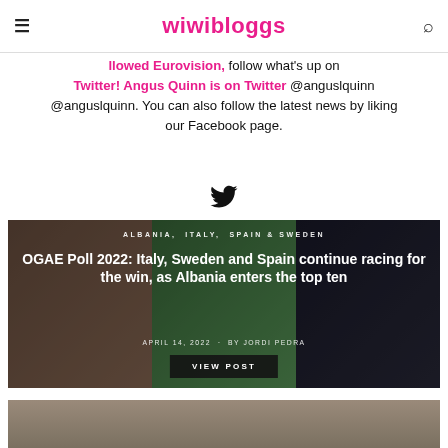wiwibloggs
followed Eurovision, follow what's up on Twitter! Angus Quinn is on Twitter @anguslquinn. You can also follow the latest news by liking our Facebook page.
[Figure (illustration): Twitter bird icon]
[Figure (photo): Card image with three panels showing Eurovision performers. Categories: ALBANIA, ITALY, SPAIN, SWEDEN. Title: OGAE Poll 2022: Italy, Sweden and Spain continue racing for the win, as Albania enters the top ten. Date: APRIL 14, 2022. By: JORDI PEDRA. Button: VIEW POST]
[Figure (photo): Bottom card showing partial image of performer]